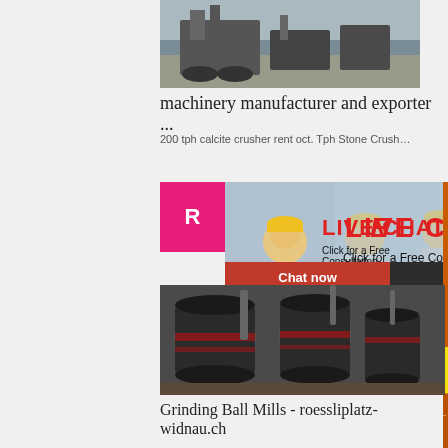[Figure (photo): Industrial mining/crushing machinery at a worksite, gravel and equipment visible]
machinery manufacturer and exporter ...
200 tph calcite crusher rent oct. Tph Stone Crush…
[Figure (photo): Live Chat popup with workers in yellow hard hats; text reads LIVE CHAT, Click for a Free Consultation, with Chat now and Chat later buttons]
[Figure (photo): Orange sidebar advertisement with grinding/crushing machine images, Enjoy 3% discount, Click to Chat, Enquiry, limingjlmofen@sina.com]
[Figure (photo): Grinding Ball Mills machinery in an industrial facility]
Grinding Ball Mills - roessliplatz-widnau.ch